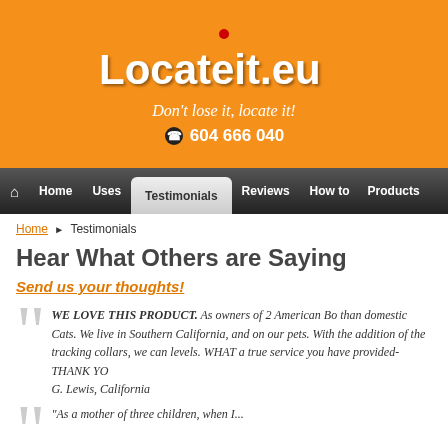[Figure (logo): Locateit.eu logo with red signal arcs on orange background, tagline 'Don't lose it, locate it!' and phone number 604 666 040]
Home | Uses | Testimonials | Reviews | How to | Products
Home > Testimonials
Hear What Others are Saying
Send us your thoughts!
WE LOVE THIS PRODUCT. As owners of 2 American Bo... than domestic Cats. We live in Southern California, and on... our pets. With the addition of the tracking collars, we can... levels. WHAT a true service you have provided-THANK YO...
G. Lewis, California